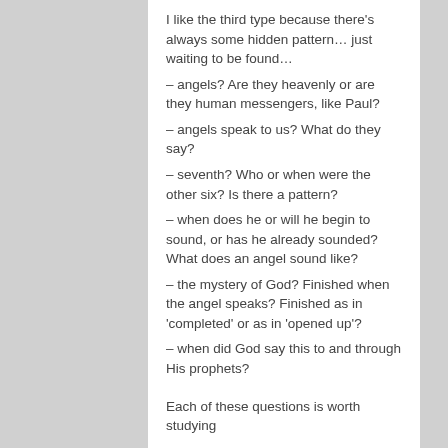I like the third type because there’s always some hidden pattern… just waiting to be found…
– angels? Are they heavenly or are they human messengers, like Paul?
– angels speak to us? What do they say?
– seventh? Who or when were the other six? Is there a pattern?
– when does he or will he begin to sound, or has he already sounded? What does an angel sound like?
– the mystery of God? Finished when the angel speaks? Finished as in ‘completed’ or as in ‘opened up’?
– when did God say this to and through His prophets?
Each of these questions is worth studying